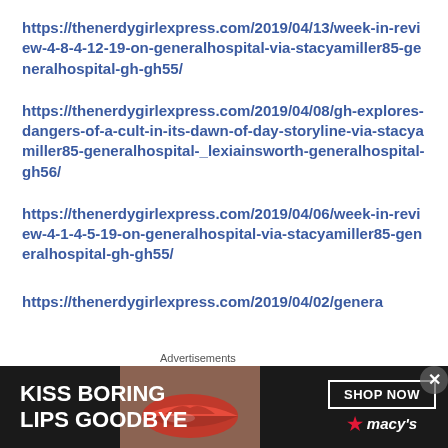https://thenerdygirlexpress.com/2019/04/13/week-in-review-4-8-4-12-19-on-generalhospital-via-stacyamiller85-generalhospital-gh-gh55/
https://thenerdygirlexpress.com/2019/04/08/gh-explores-dangers-of-a-cult-in-its-dawn-of-day-storyline-via-stacyamiller85-generalhospital-_lexiainsworth-generalhospital-gh56/
https://thenerdygirlexpress.com/2019/04/06/week-in-review-4-1-4-5-19-on-generalhospital-via-stacyamiller85-generalhospital-gh-gh55/
https://thenerdygirlexpress.com/2019/04/02/genera
Advertisements
[Figure (infographic): Macy's advertisement banner with dark background showing lips graphic and text 'KISS BORING LIPS GOODBYE' with 'SHOP NOW' button and Macy's star logo]